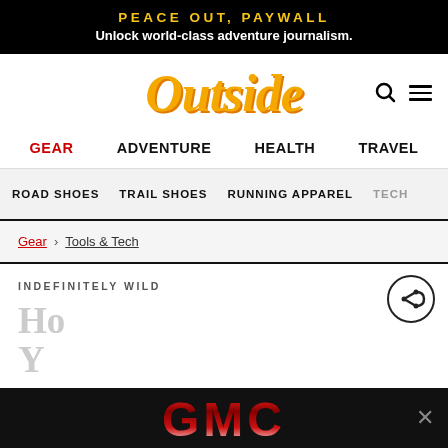PEACE OUT, PAYWALL
Unlock world-class adventure journalism.
[Figure (logo): Outside magazine logo in gold/orange italic serif font]
GEAR  ADVENTURE  HEALTH  TRAVEL
ROAD SHOES  TRAIL SHOES  RUNNING APPAREL  TECH
Gear > Tools & Tech
INDEFINITELY WILD
[Figure (logo): GMC logo advertisement banner at bottom of page]